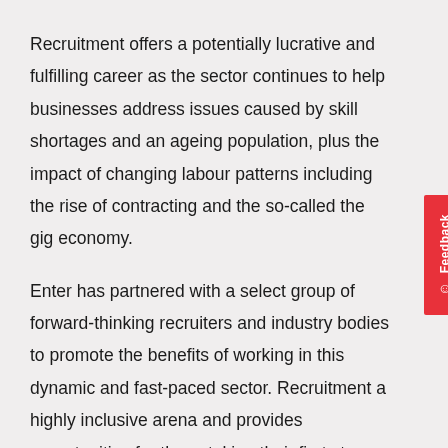Recruitment offers a potentially lucrative and fulfilling career as the sector continues to help businesses address issues caused by skill shortages and an ageing population, plus the impact of changing labour patterns including the rise of contracting and the so-called the gig economy.
Enter has partnered with a select group of forward-thinking recruiters and industry bodies to promote the benefits of working in this dynamic and fast-paced sector. Recruitment a highly inclusive arena and provides opportunities for those taking their first steps into employment, career changers or individuals returning to work perhaps after raising children or taking a break.
Visitors to the Job Fair will be able to meet successful